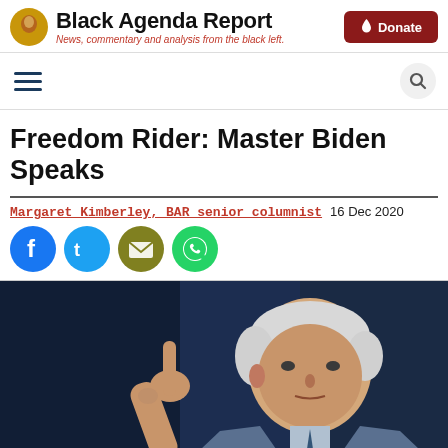Black Agenda Report — News, commentary and analysis from the black left.
Freedom Rider: Master Biden Speaks
Margaret Kimberley, BAR senior columnist  16 Dec 2020
[Figure (photo): Photo of Joe Biden pointing index finger upward against dark blue background, wearing a light blue suit.]